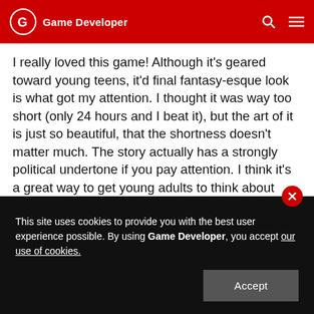Game Developer
I really loved this game! Although it's geared toward young teens, it'd final fantasy-esque look is what got my attention. I thought it was way too short (only 24 hours and I beat it), but the art of it is just so beautiful, that the shortness doesn't matter much. The story actually has a strongly political undertone if you pay attention. I think it's a great way to get young adults to think about things that are now, or will soon, be affecting them.
So, yeah! AWESOME!
This site uses cookies to provide you with the best user experience possible. By using Game Developer, you accept our use of cookies.